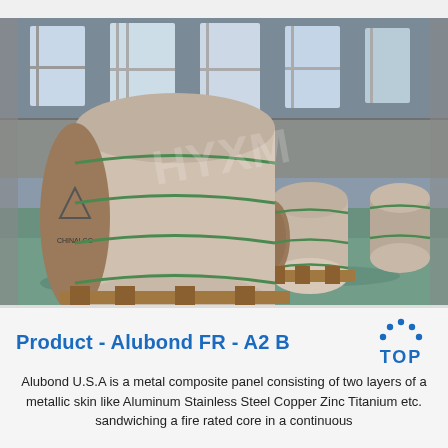[Figure (photo): Industrial warehouse interior showing large cylindrical rolls of metal (aluminum coil) wrapped in brown paper with green strapping, sitting on wooden pallets. Multiple rolls visible in the background. The warehouse has large windows letting in natural light. A faint watermark 'HYXM' is visible over the image.]
Product - Alubond FR - A2 B
[Figure (logo): TOP logo with dots arranged in an arc above the word TOP in blue bold letters]
Alubond U.S.A is a metal composite panel consisting of two layers of a metallic skin like Aluminum Stainless Steel Copper Zinc Titanium etc. sandwiching a fire rated core in a continuous